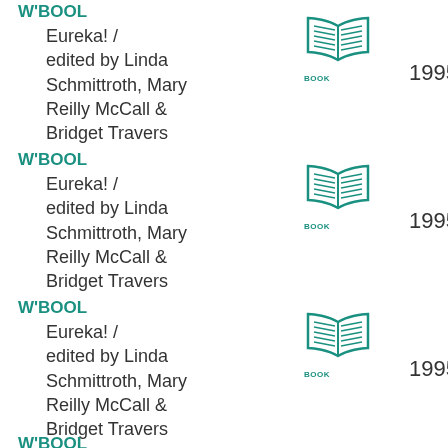W'BOOL
Eureka! / edited by Linda Schmittroth, Mary Reilly McCall & Bridget Travers
[Figure (illustration): Open book icon with BOOK label]
1995
W'BOOL
Eureka! / edited by Linda Schmittroth, Mary Reilly McCall & Bridget Travers
[Figure (illustration): Open book icon with BOOK label]
1995
W'BOOL
Eureka! / edited by Linda Schmittroth, Mary Reilly McCall & Bridget Travers
[Figure (illustration): Open book icon with BOOK label]
1995
W'BOOL